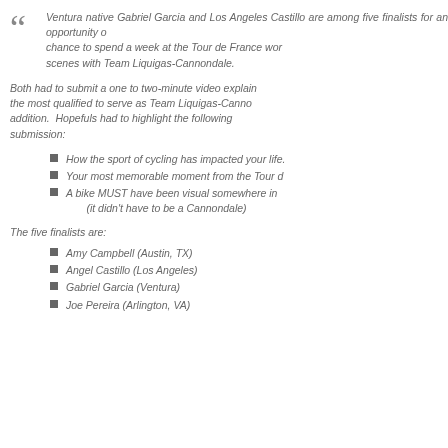Ventura native Gabriel Garcia and Los Angeles Castillo are among five finalists for an opportunity chance to spend a week at the Tour de France wor scenes with Team Liquigas-Cannondale.
Both had to submit a one to two-minute video explain the most qualified to serve as Team Liquigas-Canno addition. Hopefuls had to highlight the following submission:
How the sport of cycling has impacted your life.
Your most memorable moment from the Tour d
A bike MUST have been visual somewhere in (it didn't have to be a Cannondale)
The five finalists are:
Amy Campbell (Austin, TX)
Angel Castillo (Los Angeles)
Gabriel Garcia (Ventura)
Joe Pereira (Arlington, VA)